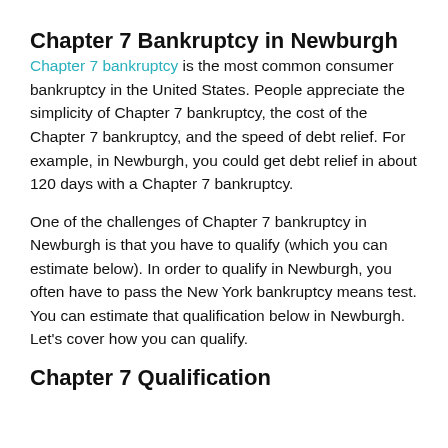Chapter 7 Bankruptcy in Newburgh
Chapter 7 bankruptcy is the most common consumer bankruptcy in the United States. People appreciate the simplicity of Chapter 7 bankruptcy, the cost of the Chapter 7 bankruptcy, and the speed of debt relief. For example, in Newburgh, you could get debt relief in about 120 days with a Chapter 7 bankruptcy.
One of the challenges of Chapter 7 bankruptcy in Newburgh is that you have to qualify (which you can estimate below). In order to qualify in Newburgh, you often have to pass the New York bankruptcy means test. You can estimate that qualification below in Newburgh. Let’s cover how you can qualify.
Chapter 7 Qualification